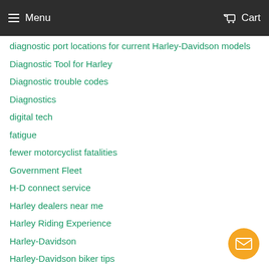Menu  Cart
diagnostic port locations for current Harley-Davidson models
Diagnostic Tool for Harley
Diagnostic trouble codes
Diagnostics
digital tech
fatigue
fewer motorcyclist fatalities
Government Fleet
H-D connect service
Harley dealers near me
Harley Riding Experience
Harley-Davidson
Harley-Davidson biker tips
Harley-Davidson diagnostic port
harley-davidson diagnostic tool